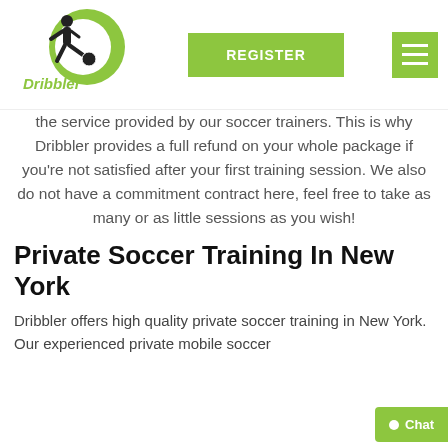[Figure (logo): Dribbler logo: soccer player silhouette with green D shape and 'Dribbler' text]
[Figure (other): Green REGISTER button in navigation bar]
[Figure (other): Green hamburger menu icon button]
the service provided by our soccer trainers. This is why Dribbler provides a full refund on your whole package if you're not satisfied after your first training session. We also do not have a commitment contract here, feel free to take as many or as little sessions as you wish!
Private Soccer Training In New York
Dribbler offers high quality private soccer training in New York. Our experienced private mobile soccer